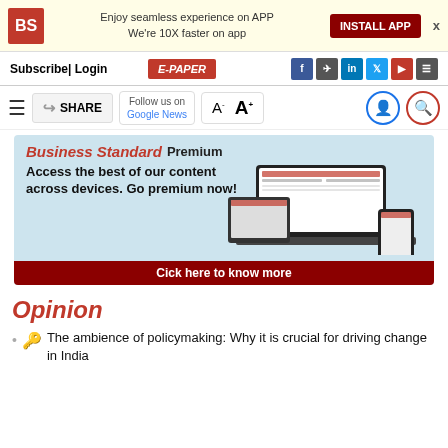Enjoy seamless experience on APP
We're 10X faster on app
INSTALL APP
Subscribe| Login  E-PAPER
SHARE  Follow us on Google News  A- A+
[Figure (screenshot): Business Standard Premium advertisement showing devices (laptop, tablet, phone) with the text: Access the best of our content across devices. Go premium now! Click here to know more]
Opinion
The ambience of policymaking: Why it is crucial for driving change in India